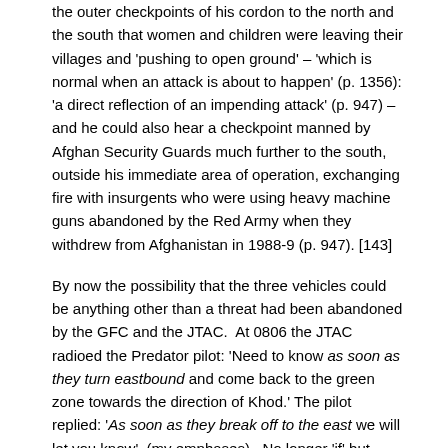the outer checkpoints of his cordon to the north and the south that women and children were leaving their villages and 'pushing to open ground' – 'which is normal when an attack is about to happen' (p. 1356): 'a direct reflection of an impending attack' (p. 947) – and he could also hear a checkpoint manned by Afghan Security Guards much further to the south, outside his immediate area of operation, exchanging fire with insurgents who were using heavy machine guns abandoned by the Red Army when they withdrew from Afghanistan in 1988-9 (p. 947). [143]
By now the possibility that the three vehicles could be anything other than a threat had been abandoned by the GFC and the JTAC.  At 0806 the JTAC radioed the Predator pilot: 'Need to know as soon as they turn eastbound and come back to the green zone towards the direction of Khod.' The pilot replied: 'As soon as they break off to the east we will let you know'  (my emphases).  No longer 'if' but 'when': the conditional had become the imminent because the JTAC had told the pilot that they had received 'special intelligence that the [northern] group is trying to link up with another fighting